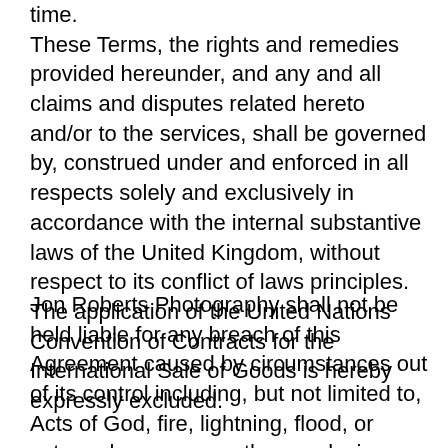time. These Terms, the rights and remedies provided hereunder, and any and all claims and disputes related hereto and/or to the services, shall be governed by, construed under and enforced in all respects solely and exclusively in accordance with the internal substantive laws of the United Kingdom, without respect to its conflict of laws principles. The application of the United Nations Convention of Contracts for the International Sale of Goods is hereby expressly excluded.
Jon Roberts Photography shall not be held liable for any breach of this Agreement caused by circumstances out of its control including, but not limited to, Acts of God, fire, lightning, flood, or extremely severe weather, explosion, war, disorder, flood, industrial disputes, acts or omissions of